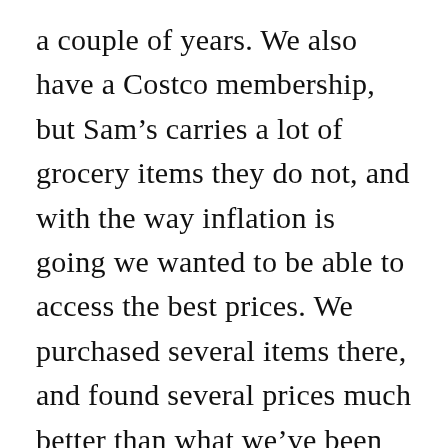a couple of years. We also have a Costco membership, but Sam's carries a lot of grocery items they do not, and with the way inflation is going we wanted to be able to access the best prices. We purchased several items there, and found several prices much better than what we've been paying elsewhere. We found lean ground beef on markdown (I had forgotten that Sam's marks down their meat!), so purchased 6 lbs and put in the freezer. I filled up my car with gas there